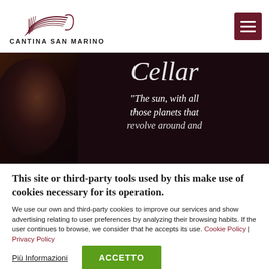[Figure (logo): Cantina San Marino logo with stylized wine/scroll graphic above the text 'CANTINA SAN MARINO']
[Figure (photo): Dark hero banner image showing wine barrels in a cellar with overlaid italic text 'Cellar' and a quote beginning 'The sun, with all those planets that revolve around and']
This site or third-party tools used by this make use of cookies necessary for its operation.
We use our own and third-party cookies to improve our services and show advertising relating to user preferences by analyzing their browsing habits. If the user continues to browse, we consider that he accepts its use. Cookie Policy | Privacy Policy
Più Informazioni
ACCETTO